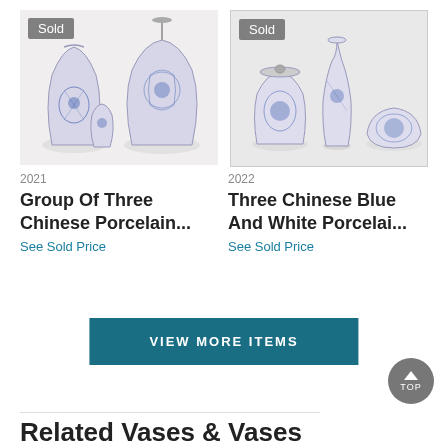[Figure (photo): Group of three Chinese blue and white porcelain jars/vases with floral decoration, with 'Sold' badge]
[Figure (photo): Three Chinese blue and white porcelain pieces including a vase, covered jar, and bowl, with 'Sold' badge]
2021
Group Of Three Chinese Porcelain...
See Sold Price
2022
Three Chinese Blue And White Porcelai...
See Sold Price
VIEW MORE ITEMS
TOP
Related Vases & Vases...